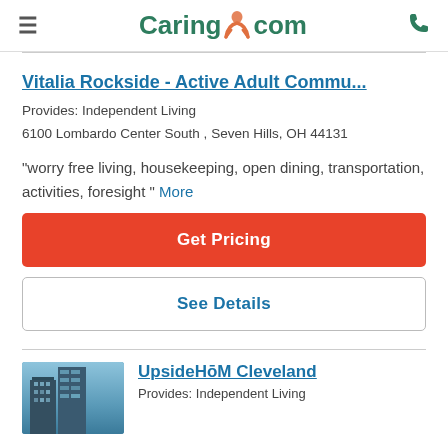Caring.com
Vitalia Rockside - Active Adult Commu...
Provides: Independent Living
6100 Lombardo Center South , Seven Hills, OH 44131
"worry free living, housekeeping, open dining, transportation, activities, foresight " More
Get Pricing
See Details
UpsideHōM Cleveland
Provides: Independent Living
[Figure (photo): Photo of UpsideHoM Cleveland building exterior, tall modern buildings against blue sky]